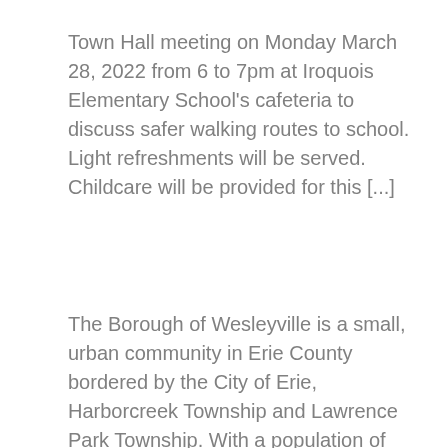Town Hall meeting on Monday March 28, 2022 from 6 to 7pm at Iroquois Elementary School's cafeteria to discuss safer walking routes to school.  Light refreshments will be served.  Childcare will be provided for this [...]
The Borough of Wesleyville is a small, urban community in Erie County bordered by the City of Erie, Harborcreek Township and Lawrence Park Township. With a population of 3,341, the Borough features all of the comforts of a small town with Pennsylvania's 4th largest